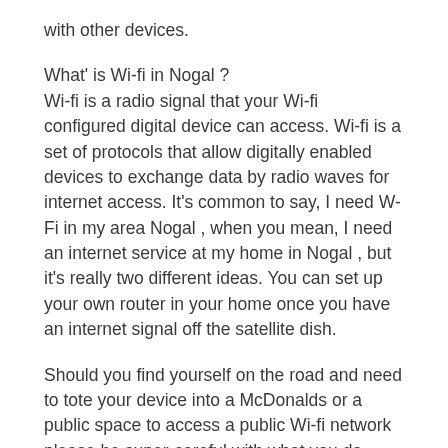with other devices.
What' is Wi-fi in Nogal ?
Wi-fi is a radio signal that your Wi-fi configured digital device can access. Wi-fi is a set of protocols that allow digitally enabled devices to exchange data by radio waves for internet access. It's common to say, I need W-Fi in my area Nogal , when you mean, I need an internet service at my home in Nogal , but it's really two different ideas. You can set up your own router in your home once you have an internet signal off the satellite dish.
Should you find yourself on the road and need to tote your device into a McDonalds or a public space to access a public Wi-fi network please be super-careful with what you do online because other devices on that same signal can potentially access your device while you're there. You may be able to limit those settings on